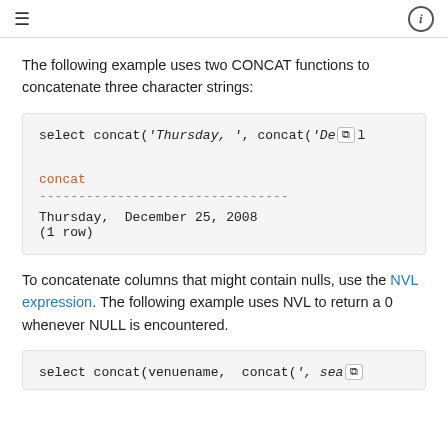≡  ⓘ
The following example uses two CONCAT functions to concatenate three character strings:
select concat('Thursday, ', concat('De... 
concat
--------------------------------
Thursday, December 25, 2008
(1 row)
To concatenate columns that might contain nulls, use the NVL expression. The following example uses NVL to return a 0 whenever NULL is encountered.
select concat(venuename, concat(', sea...